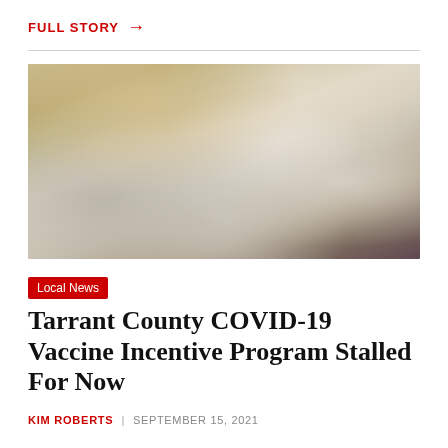FULL STORY →
[Figure (photo): Close-up photograph of gloved hands administering a vaccine injection with a syringe]
Local News
Tarrant County COVID-19 Vaccine Incentive Program Stalled For Now
KIM ROBERTS | SEPTEMBER 15, 2021